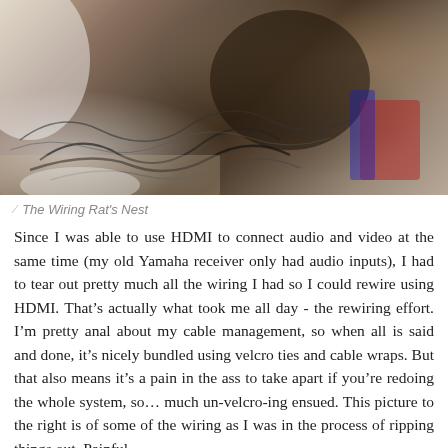[Figure (photo): A tangled mess of cables and wires on a floor/desk, described as a wiring rat's nest during a rewiring process.]
The Wiring Rat's Nest
Since I was able to use HDMI to connect audio and video at the same time (my old Yamaha receiver only had audio inputs), I had to tear out pretty much all the wiring I had so I could rewire using HDMI. That’s actually what took me all day - the rewiring effort. I’m pretty anal about my cable management, so when all is said and done, it’s nicely bundled using velcro ties and cable wraps. But that also means it’s a pain in the ass to take apart if you’re redoing the whole system, so… much un-velcro-ing ensued. This picture to the right is of some of the wiring as I was in the process of ripping things out. Painful.